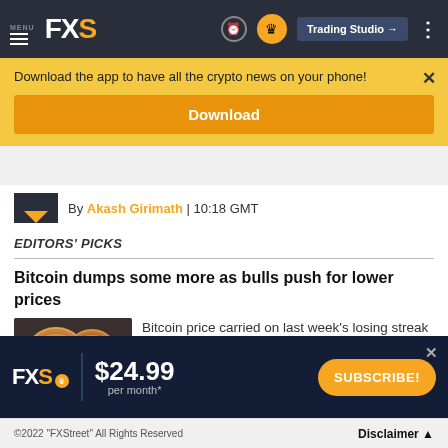MENU FXS | Trading Studio
Download the app to have all the crypto news on your phone!
Download
By Akash Girimath | 10:18 GMT
EDITORS' PICKS
Bitcoin dumps some more as bulls push for lower prices
[Figure (photo): Bronze Bitcoin coins close-up photo]
Bitcoin price carried on last week's losing streak amid fears of further losses. Investors foreshadow another
[Figure (infographic): FXS subscription banner: $24.99 per month* with SUBSCRIBE! button]
©2022 "FXStreet" All Rights Reserved  Disclaimer ▲